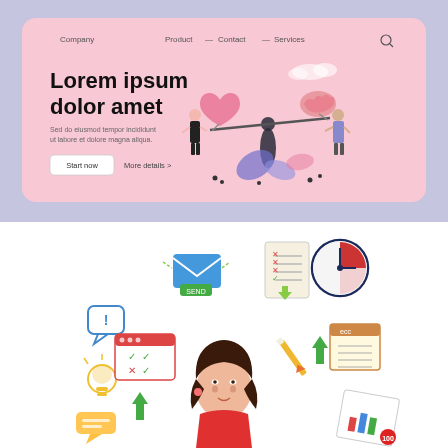[Figure (illustration): Website UI mockup screenshot on a lavender/periwinkle background. The mockup shows a pink-background landing page with navigation bar (Company, Product, Contact, Services, search icon), a large bold headline 'Lorem ipsum dolor amet', smaller subtext 'Sed do eiusmod tempor incididunt ut labore et dolore magna aliqua', a white 'Start now' button and 'More details >' link. To the right is a flat illustration of a balance scale with a large pink heart on one side and a pink brain on the other, with three people figures standing around it, decorative leaves and plant elements in purple/blue.]
[Figure (illustration): Flat design illustration showing a woman with dark hair and red top surrounded by various floating icons representing productivity/business tasks: a chat bubble with exclamation mark, an email envelope, a checklist with x marks, a clock/pie chart, a lightbulb, a browser window with checkmarks, a pencil, an upward arrow, a notebook with lines, and a bar chart document. The icons float around the central female figure suggesting multitasking or task management.]